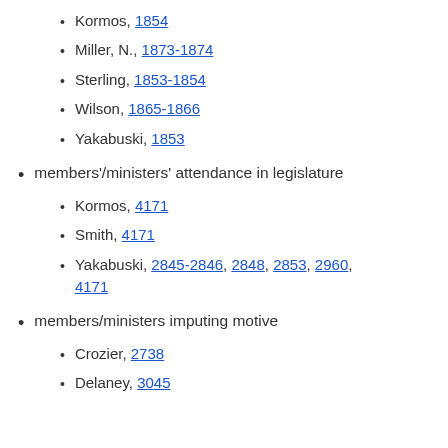Kormos, 1854
Miller, N., 1873-1874
Sterling, 1853-1854
Wilson, 1865-1866
Yakabuski, 1853
members'/ministers' attendance in legislature
Kormos, 4171
Smith, 4171
Yakabuski, 2845-2846, 2848, 2853, 2960, 4171
members/ministers imputing motive
Crozier, 2738
Delaney, 3045